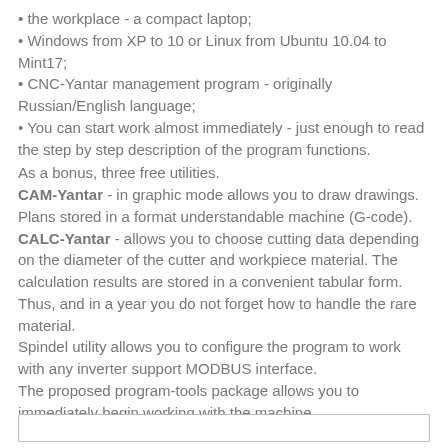the workplace - a compact laptop;
Windows from XP to 10 or Linux from Ubuntu 10.04 to Mint17;
CNC-Yantar management program - originally Russian/English language;
You can start work almost immediately - just enough to read the step by step description of the program functions.
As a bonus, three free utilities.
CAM-Yantar - in graphic mode allows you to draw drawings. Plans stored in a format understandable machine (G-code).
CALC-Yantar - allows you to choose cutting data depending on the diameter of the cutter and workpiece material. The calculation results are stored in a convenient tabular form. Thus, and in a year you do not forget how to handle the rare material.
Spindel utility allows you to configure the program to work with any inverter support MODBUS interface.
The proposed program-tools package allows you to immediately begin working with the machine.
Before buying you can make sure the application is compatible with your computer - it is to install the program following the description. Without the controller software will run in demo mode.